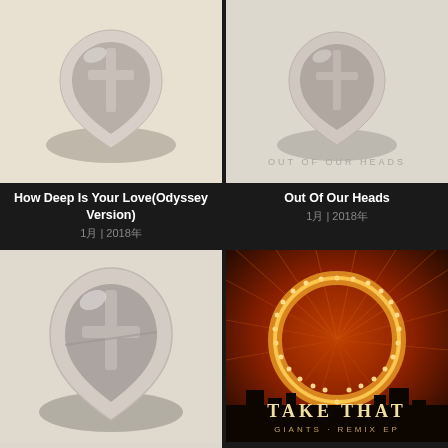[Figure (illustration): Album art for 'How Deep Is Your Love (Odyssey Version)' - white 3D heart/teardrop shape with cross symbol on beige background]
[Figure (illustration): Album art for 'Out Of Our Heads' - white 3D heart/teardrop shape with cross symbol on beige background, text 'OUT OF OUR HEADS' in grey]
How Deep Is Your Love(Odyssey Version)
1月 | 2018年
Out Of Our Heads
1月 | 2018年
[Figure (illustration): Album art - larger white 3D heart/teardrop shape with cross symbol on beige background, similar to above]
[Figure (illustration): Take That - Giants Remix EP album art - glowing illuminated Ferris wheel ring against dark red/orange bokeh background with city silhouette, text 'TAKE THAT GIANTS REMIX EP']